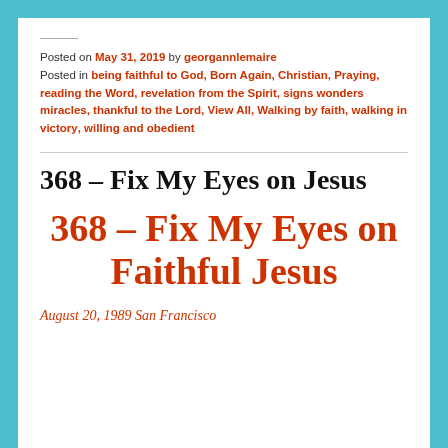Posted on May 31, 2019 by georgannlemaire
Posted in being faithful to God, Born Again, Christian, Praying, reading the Word, revelation from the Spirit, signs wonders miracles, thankful to the Lord, View All, Walking by faith, walking in victory, willing and obedient
368 – Fix My Eyes on Jesus
368 – Fix My Eyes on Faithful Jesus
August 20, 1989 San Francisco